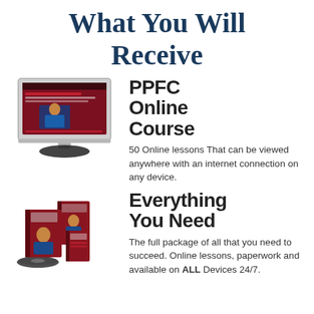What You Will Receive
[Figure (illustration): Computer monitor displaying a course webpage with a person on screen]
PPFC Online Course
50 Online lessons That can be viewed anywhere with an internet connection on any device.
[Figure (illustration): Stack of books and course materials with a person on cover]
Everything You Need
The full package of all that you need to succeed. Online lessons, paperwork and available on ALL Devices 24/7.